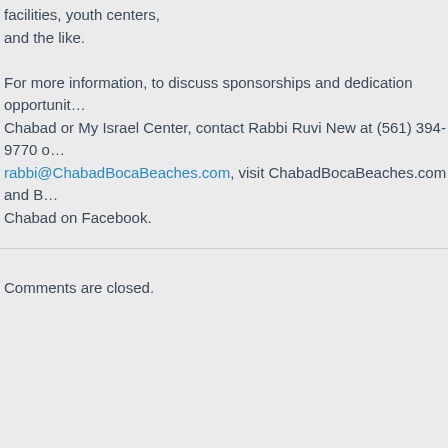facilities, youth centers, and the like. For more information, to discuss sponsorships and dedication opportunities at Chabad or My Israel Center, contact Rabbi Ruvi New at (561) 394-9770 or rabbi@ChabadBocaBeaches.com, visit ChabadBocaBeaches.com and follow Chabad on Facebook.
#####
Comments are closed.